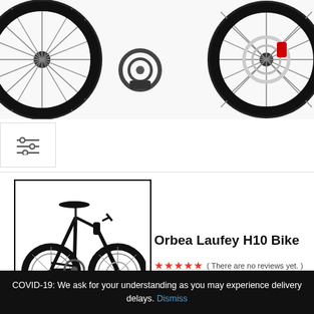[Figure (photo): Close-up cropped view of a mountain bike showing the rear wheel area, drivetrain/cassette on the left and front wheel with disc brake on the right, on a white background.]
[Figure (other): Filter/sort icon with three horizontal lines with adjustment sliders.]
[Figure (photo): Thumbnail product image of the Orbea Laufey H10 mountain bike in black, showing full side profile with two wheels.]
Orbea Laufey H10 Bike
( There are no reviews yet. )
$1.519
COVID-19: We ask for your understanding as you may experience delivery delays. Dismiss